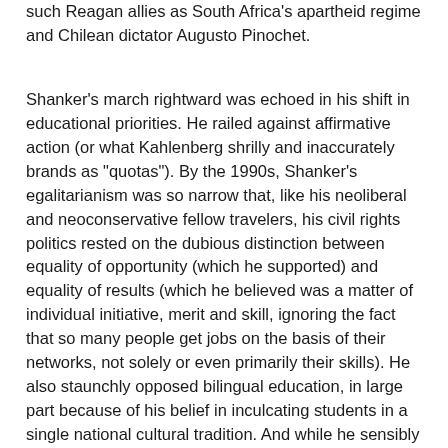such Reagan allies as South Africa's apartheid regime and Chilean dictator Augusto Pinochet.
Shanker's march rightward was echoed in his shift in educational priorities. He railed against affirmative action (or what Kahlenberg shrilly and inaccurately brands as "quotas"). By the 1990s, Shanker's egalitarianism was so narrow that, like his neoliberal and neoconservative fellow travelers, his civil rights politics rested on the dubious distinction between equality of opportunity (which he supported) and equality of results (which he believed was a matter of individual initiative, merit and skill, ignoring the fact that so many people get jobs on the basis of their networks, not solely or even primarily their skills). He also staunchly opposed bilingual education, in large part because of his belief in inculcating students in a single national cultural tradition. And while he sensibly held out against curriculums that had as their primary goal enhancing the "self-esteem" of students (the best research shows that self-esteem and academic success are not correlated), he also led an increasingly influential band of school reformers who fetishized standardized testing as the solution to academic